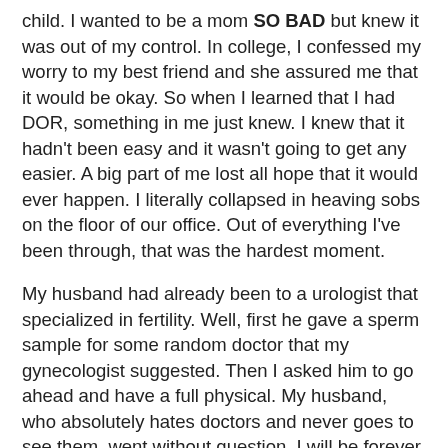child. I wanted to be a mom SO BAD but knew it was out of my control. In college, I confessed my worry to my best friend and she assured me that it would be okay. So when I learned that I had DOR, something in me just knew. I knew that it hadn't been easy and it wasn't going to get any easier. A big part of me lost all hope that it would ever happen. I literally collapsed in heaving sobs on the floor of our office. Out of everything I've been through, that was the hardest moment.
My husband had already been to a urologist that specialized in fertility. Well, first he gave a sperm sample for some random doctor that my gynecologist suggested. Then I asked him to go ahead and have a full physical. My husband, who absolutely hates doctors and never goes to see them, went without question. I will be forever grateful about his attitude. So he went. Had a physical exam, bloodwork, ultrasound, gave another sample. The results were fine. No physical problems. Low counts but nothing impossible.
So I felt we had checked everything out that we could. So